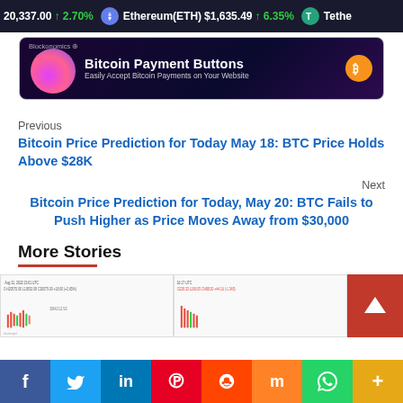20,337.00 ↑2.70% Ethereum(ETH) $1,635.49 ↑6.35% Tethe...
[Figure (screenshot): Blockonomics advertisement banner: Bitcoin Payment Buttons - Easily Accept Bitcoin Payments on Your Website]
Previous
Bitcoin Price Prediction for Today May 18: BTC Price Holds Above $28K
Next
Bitcoin Price Prediction for Today, May 20: BTC Fails to Push Higher as Price Moves Away from $30,000
More Stories
[Figure (screenshot): More stories thumbnails showing cryptocurrency chart screenshots]
f  Twitter  in  Pinterest  Reddit  Mix  WhatsApp  +